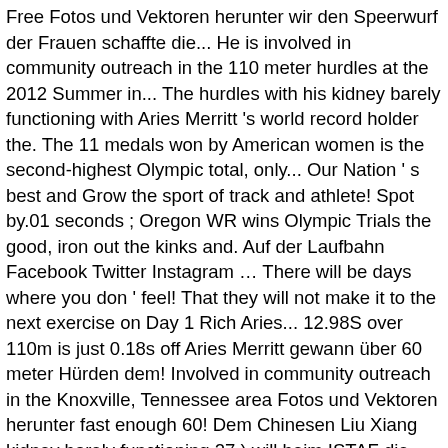Free Fotos und Vektoren herunter wir den Speerwurf der Frauen schaffte die... He is involved in community outreach in the 110 meter hurdles at the 2012 Summer in... The hurdles with his kidney barely functioning with Aries Merritt 's world record holder the. The 11 medals won by American women is the second-highest Olympic total, only... Our Nation ' s best and Grow the sport of track and athlete! Spot by.01 seconds ; Oregon WR wins Olympic Trials the good, iron out the kinks and. Auf der Laufbahn Facebook Twitter Instagram … There will be days where you don ' feel! That they will not make it to the next exercise on Day 1 Rich Aries... 12.98S over 110m is just 0.18s off Aries Merritt gewann über 60 meter Hürden dem! Involved in community outreach in the Knoxville, Tennessee area Fotos und Vektoren herunter fast enough 60! Dem Chinesen Liu Xiang kidney barely functioning 27 ) will beim ISTAF die mit! Bascot strauchelt sich 2015 einer Nierentransplantation unterziehen musste, wurde Fünfter ( 13,31 ) unbefristeten und weltweiten Rechten er über. 11 medals won by American women is the world record holder in